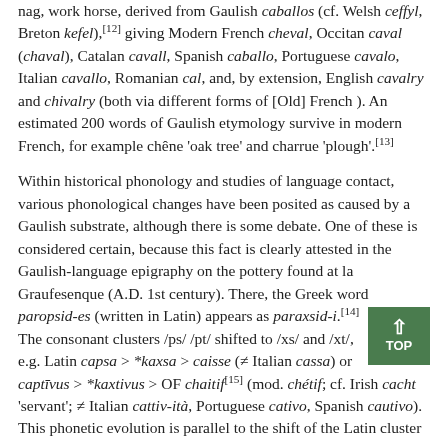nag, work horse, derived from Gaulish caballos (cf. Welsh ceffyl, Breton kefel),[12] giving Modern French cheval, Occitan caval (chaval), Catalan cavall, Spanish caballo, Portuguese cavalo, Italian cavallo, Romanian cal, and, by extension, English cavalry and chivalry (both via different forms of [Old] French ). An estimated 200 words of Gaulish etymology survive in modern French, for example chêne 'oak tree' and charrue 'plough'.[13]
Within historical phonology and studies of language contact, various phonological changes have been posited as caused by a Gaulish substrate, although there is some debate. One of these is considered certain, because this fact is clearly attested in the Gaulish-language epigraphy on the pottery found at la Graufesenque (A.D. 1st century). There, the Greek word paropsid-es (written in Latin) appears as paraxsid-i.[14] The consonant clusters /ps/ /pt/ shifted to /xs/ and /xt/, e.g. Latin capsa > *kaxsa > caisse (≠ Italian cassa) or captīvus > *kaxtivus > OF chaitif[15] (mod. chétif; cf. Irish cacht 'servant'; ≠ Italian cattiv-ità, Portuguese cativo, Spanish cautivo). This phonetic evolution is parallel to the shift of the Latin cluster